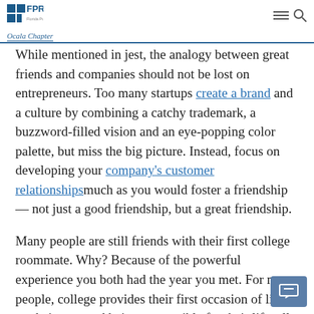FPRA Ocala Chapter
While mentioned in jest, the analogy between great friends and companies should not be lost on entrepreneurs. Too many startups create a brand and a culture by combining a catchy trademark, a buzzword-filled vision and an eye-popping color palette, but miss the big picture. Instead, focus on developing your company's customer relationships much as you would foster a friendship — not just a good friendship, but a great friendship.
Many people are still friends with their first college roommate. Why? Because of the powerful experience you both had the year you met. For many people, college provides their first occasion of living on their own and being responsible for their life, all while being immersed in an exciting setting with scores of others undergoing the same thing. It's natural to bond with others under these